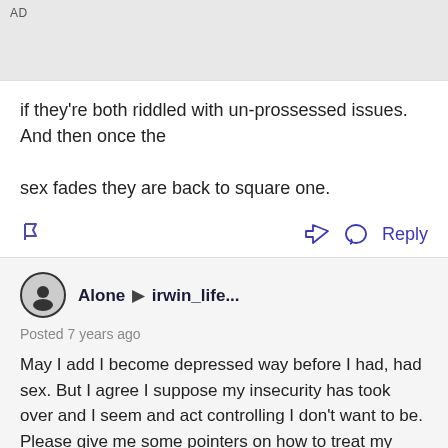AD
if they're both riddled with un-prossessed issues. And then once the

sex fades they are back to square one.
Alone ▶ irwin_life...
Posted 7 years ago
May I add I become depressed way before I had, had sex. But I agree I suppose my insecurity has took over and I seem and act controlling I don't want to be. Please give me some pointers on how to treat my girlfriend or about women in genreal it would really help.